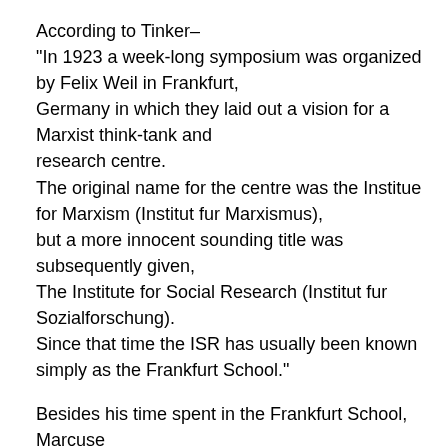According to Tinker–
"In 1923 a week-long symposium was organized by Felix Weil in Frankfurt,
Germany in which they laid out a vision for a Marxist think-tank and
research centre.
The original name for the centre was the Institue for Marxism (Institut fur Marxismus),
but a more innocent sounding title was subsequently given,
The Institute for Social Research (Institut fur Sozialforschung).
Since that time the ISR has usually been known simply as the Frankfurt School."
Besides his time spent in the Frankfurt School, Marcuse